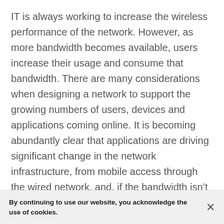IT is always working to increase the wireless performance of the network. However, as more bandwidth becomes available, users increase their usage and consume that bandwidth. There are many considerations when designing a network to support the growing numbers of users, devices and applications coming online. It is becoming abundantly clear that applications are driving significant change in the network infrastructure, from mobile access through the wired network, and, if the bandwidth isn't available to support those applications, the blame will fall on the network (meaning everyone will look to IT to fix the problem).
By continuing to use our website, you acknowledge the use of cookies.